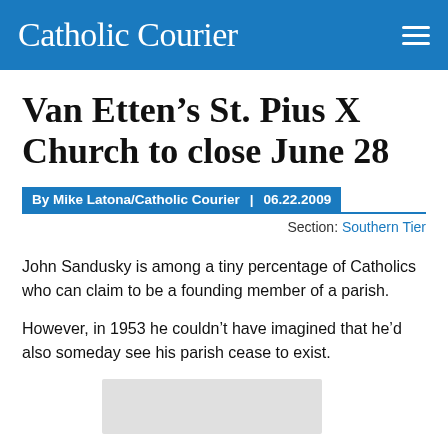Catholic Courier
Van Etten’s St. Pius X Church to close June 28
By Mike Latona/Catholic Courier | 06.22.2009
Section: Southern Tier
John Sandusky is among a tiny percentage of Catholics who can claim to be a founding member of a parish.
However, in 1953 he couldn’t have imagined that he’d also someday see his parish cease to exist.